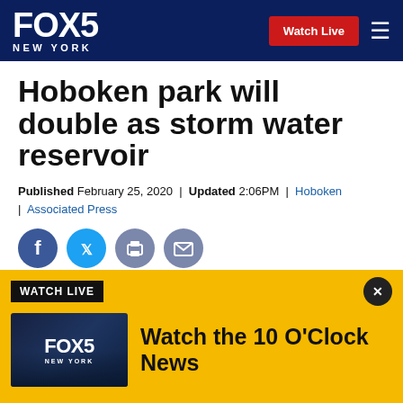FOX 5 NEW YORK | Watch Live
Hoboken park will double as storm water reservoir
Published February 25, 2020 | Updated 2:06PM | Hoboken | Associated Press
[Figure (other): Social sharing icons: Facebook, Twitter, Print, Email]
[Figure (photo): Photo of Hoboken train station sign reading HOBOKEN with Welcome to text on left]
[Figure (other): Watch Live banner with FOX 5 New York logo thumbnail and text Watch the 10 O'Clock News on yellow background]